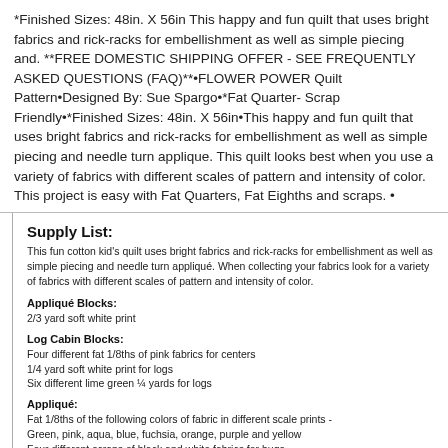*Finished Sizes: 48in. X 56in This happy and fun quilt that uses bright fabrics and rick-racks for embellishment as well as simple piecing and. **FREE DOMESTIC SHIPPING OFFER - SEE FREQUENTLY ASKED QUESTIONS (FAQ)**•FLOWER POWER Quilt Pattern•Designed By: Sue Spargo•*Fat Quarter- Scrap Friendly•*Finished Sizes: 48in. X 56in•This happy and fun quilt that uses bright fabrics and rick-racks for embellishment as well as simple piecing and needle turn applique. This quilt looks best when you use a variety of fabrics with different scales of pattern and intensity of color. This project is easy with Fat Quarters, Fat Eighths and scraps. •
Supply List:
This fun cotton kid's quilt uses bright fabrics and rick-racks for embellishment as well as simple piecing and needle turn appliqué. When collecting your fabrics look for a variety of fabrics with different scales of pattern and intensity of color.
Appliqué Blocks:
2/3 yard soft white print
Log Cabin Blocks:
Four different fat 1/8ths of pink fabrics for centers
1/4 yard soft white print for logs
Six different lime green ¼ yards for logs
Appliqué:
Fat 1/8ths of the following colors of fabric in different scale prints -
Green, pink, aqua, blue, fuchsia, orange, purple and yellow
Four different scraps of black and white fabrics for bugs
Border, Binding and Backing: